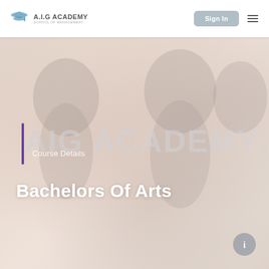[Figure (logo): A.I.G Academy School of Management logo with graduation cap icon]
Sign In
[Figure (photo): Hero image background showing graduates/students, washed out with white overlay, with large watermark text 'AIG ACADEMY...' and a purple vertical bar accent]
Course Details
Bachelors Of Arts